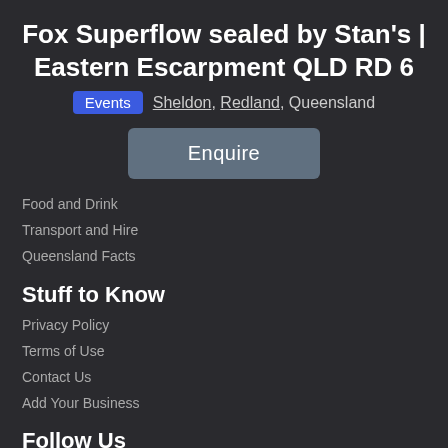Fox Superflow sealed by Stan's | Eastern Escarpment QLD RD 6
Events   Sheldon, Redland, Queensland
Enquire
Food and Drink
Transport and Hire
Queensland Facts
Stuff to Know
Privacy Policy
Terms of Use
Contact Us
Add Your Business
Follow Us
[Figure (illustration): Social media icons: Facebook (blue), Twitter (blue), Instagram (pink/red)]